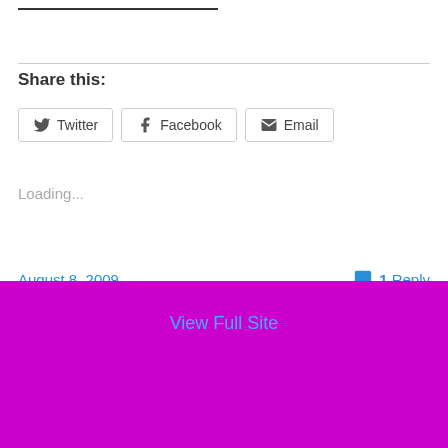Share this:
Twitter Facebook Email
Loading...
August 8, 2009
1 Reply
View Full Site